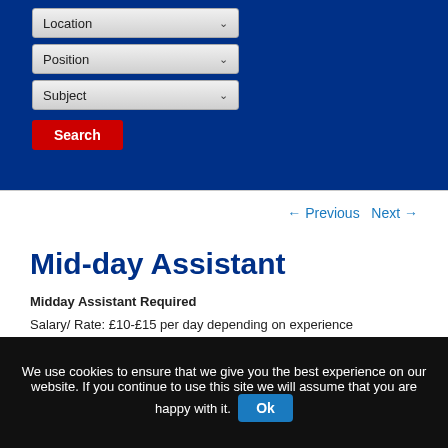[Figure (screenshot): Blue section with dropdown filters for Location, Position, Subject and a red Search button]
← Previous   Next →
Mid-day Assistant
Midday Assistant Required
Salary/ Rate: £10-£15 per day depending on experience
We use cookies to ensure that we give you the best experience on our website. If you continue to use this site we will assume that you are happy with it. Ok